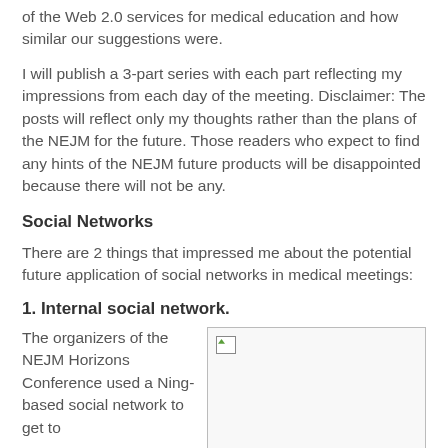of the Web 2.0 services for medical education and how similar our suggestions were.
I will publish a 3-part series with each part reflecting my impressions from each day of the meeting. Disclaimer: The posts will reflect only my thoughts rather than the plans of the NEJM for the future. Those readers who expect to find any hints of the NEJM future products will be disappointed because there will not be any.
Social Networks
There are 2 things that impressed me about the potential future application of social networks in medical meetings:
1. Internal social network.
The organizers of the NEJM Horizons Conference used a Ning-based social network to get to
[Figure (photo): A broken/missing image placeholder with a small green icon in the top-left corner, inside a bordered box.]